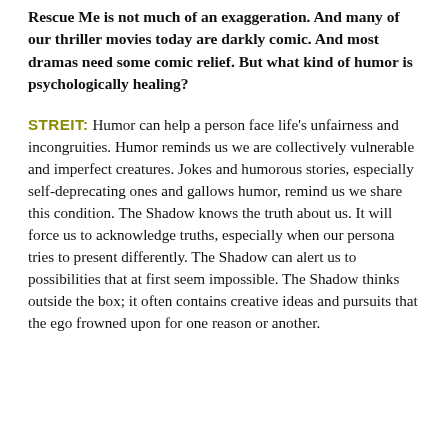Rescue Me is not much of an exaggeration. And many of our thriller movies today are darkly comic. And most dramas need some comic relief. But what kind of humor is psychologically healing?
STREIT: Humor can help a person face life's unfairness and incongruities. Humor reminds us we are collectively vulnerable and imperfect creatures. Jokes and humorous stories, especially self-deprecating ones and gallows humor, remind us we share this condition. The Shadow knows the truth about us. It will force us to acknowledge truths, especially when our persona tries to present differently. The Shadow can alert us to possibilities that at first seem impossible. The Shadow thinks outside the box; it often contains creative ideas and pursuits that the ego frowned upon for one reason or another.